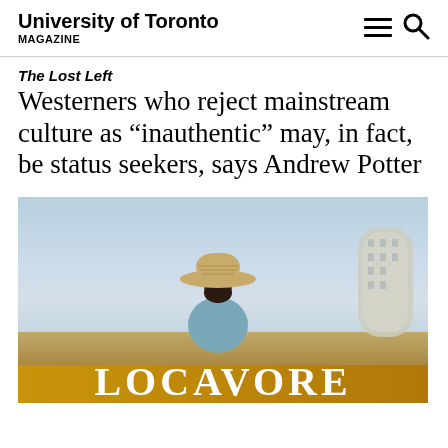University of Toronto MAGAZINE
The Lost Left
Westerners who reject mainstream culture as “inauthentic” may, in fact, be status seekers, says Andrew Potter
[Figure (photo): A person seen from behind wearing a straw hat and a blue hoodie, standing in front of a cityscape with a modern curved building on the right. The word LOCAVORE appears in large white serif letters on a golden-brown bar at the bottom of the image.]